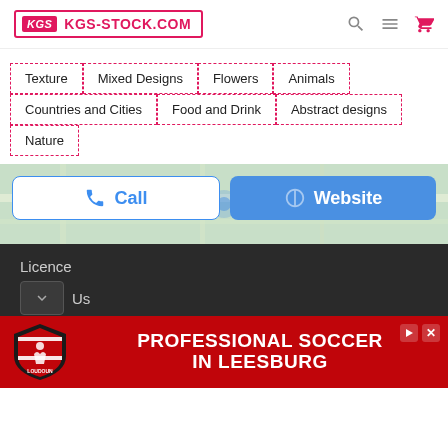[Figure (logo): KGS-STOCK.COM logo with pink/red branding and navigation icons]
Texture
Mixed Designs
Flowers
Animals
Countries and Cities
Food and Drink
Abstract designs
Nature
[Figure (screenshot): Map background with Call and Website buttons overlaid]
Licence
Us
[Figure (illustration): Advertisement banner: Loudoun soccer logo with text PROFESSIONAL SOCCER IN LEESBURG on red background]